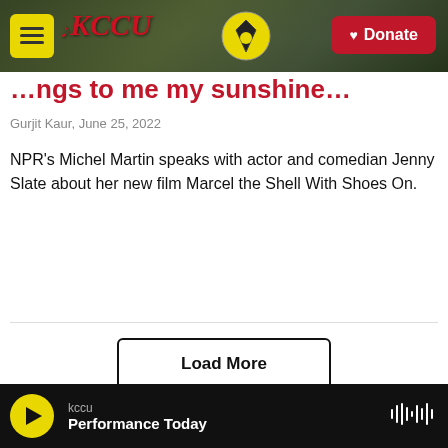KCCU — Donate
…ngs to me my sunshine…
Gurjit Kaur,  June 25, 2022
NPR's Michel Martin speaks with actor and comedian Jenny Slate about her new film Marcel the Shell With Shoes On.
LISTEN • 8:06
Load More
LATEST KCCU NEWS
kccu — Performance Today